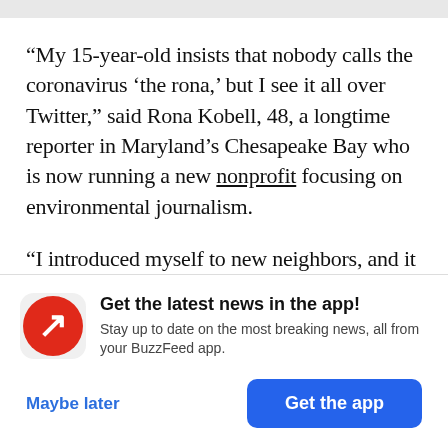“My 15-year-old insists that nobody calls the coronavirus ‘the rona,’ but I see it all over Twitter,” said Rona Kobell, 48, a longtime reporter in Maryland’s Chesapeake Bay who is now running a new nonprofit focusing on environmental journalism.
“I introduced myself to new neighbors, and it was clear they didn’t get my name,” she said, “and so I
[Figure (logo): BuzzFeed app icon: red circle with white trending arrow logo]
Get the latest news in the app! Stay up to date on the most breaking news, all from your BuzzFeed app.
Maybe later
Get the app